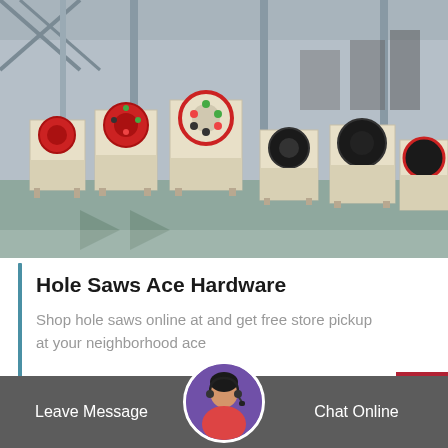[Figure (photo): Industrial factory floor with rows of jaw crusher machines in cream/beige color with red and black accents, large industrial space with metal framework and columns]
Hole Saws Ace Hardware
Shop hole saws online at and get free store pickup at your neighborhood ace
[Figure (photo): Customer service representative avatar with headset, circular profile photo]
Leave Message   Chat Online